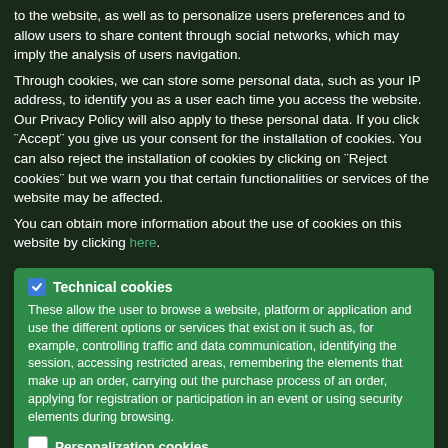to the website, as well as to personalize users preferences and to allow users to share content through social networks, which may imply the analysis of users navigation.
Through cookies, we can store some personal data, such as your IP address, to identify you as a user each time you access the website. Our Privacy Policy will also apply to these personal data. If you click ¨Accept¨ you give us your consent for the installation of cookies. You can also reject the installation of cookies by clicking on ¨Reject cookies¨ but we warn you that certain functionalities or services of the website may be affected.
You can obtain more information about the use of cookies on this website by clicking here.
Technical cookies
These allow the user to browse a website, platform or application and use the different options or services that exist on it such as, for example, controlling traffic and data communication, identifying the session, accessing restricted areas, remembering the elements that make up an order, carrying out the purchase process of an order, applying for registration or participation in an event or using security elements during browsing.
Personalization cookies